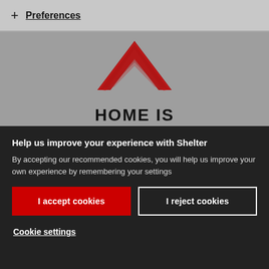+ Preferences
[Figure (logo): Shelter charity logo — red angular chevron/roof shape above the text HOME IS in bold black]
Help us improve your experience with Shelter
By accepting our recommended cookies, you will help us improve your own experience by remembering your settings
I accept cookies
I reject cookies
Cookie settings